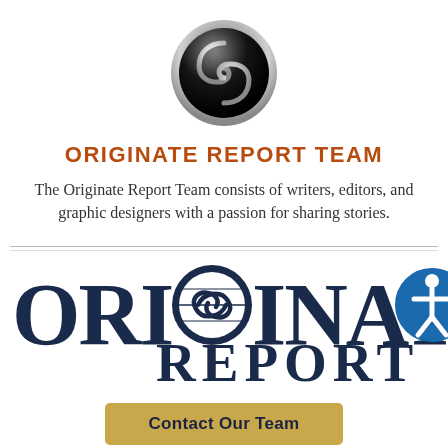[Figure (logo): Circular metallic black button logo with a stylized G or cursive letter design in silver on a black background with chrome border]
ORIGINATE REPORT TEAM
The Originate Report Team consists of writers, editors, and graphic designers with a passion for sharing stories.
[Figure (logo): Originate Report large logo in dark navy blue serif font with a globe/swirl graphic replacing the letter G in ORIGINATE, and an accessibility icon at the end]
Contact Our Team